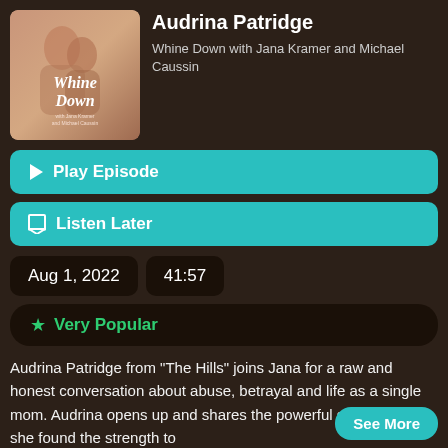[Figure (illustration): Podcast cover art for 'Whine Down with Jana Kramer and Michael Caussin' showing two people in an embrace with pink/warm tones and stylized text overlay]
Audrina Patridge
Whine Down with Jana Kramer and Michael Caussin
▶ Play Episode
🔖 Listen Later
Aug 1, 2022
41:57
★ Very Popular
Audrina Patridge from "The Hills" joins Jana for a raw and honest conversation about abuse, betrayal and life as a single mom. Audrina opens up and shares the powerful story of how she found the strength to
See More